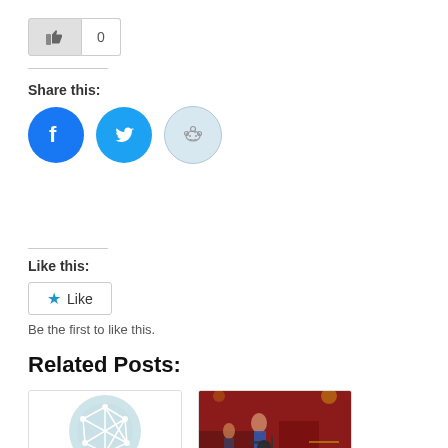[Figure (other): Like/thumbs-up button with count 0]
Share this:
[Figure (other): Social share icons: Facebook (blue circle), Twitter (blue circle), Reddit (light blue circle)]
Like this:
[Figure (other): WordPress Like widget button with star icon and Like text]
Be the first to like this.
Related Posts:
[Figure (illustration): OFFLINE All - post card with network/mesh globe icon on light blue circle background]
[Figure (photo): Offline party pics - post card showing a person playing guitar on stage]